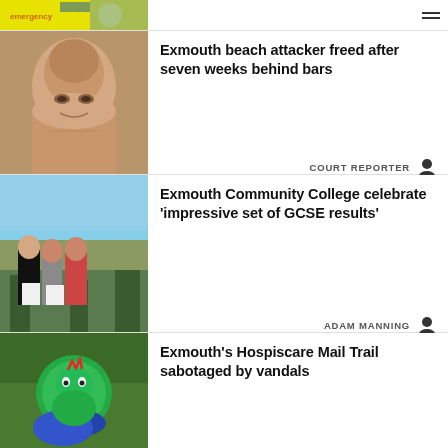[Figure (screenshot): Top navigation bar with partial yellow/emergency image thumbnail on left and hamburger menu icon on right]
[Figure (photo): Close-up photo of a man's face (beach attacker news story)]
Exmouth beach attacker freed after seven weeks behind bars
COURT REPORTER
[Figure (photo): Photo of three students holding papers outdoors (GCSE results story)]
Exmouth Community College celebrate 'impressive set of GCSE results'
ADAM MANNING
[Figure (photo): Photo of a knitted/crocheted green dragon figure outdoors (Hospiscare Mail Trail story)]
Exmouth's Hospiscare Mail Trail sabotaged by vandals